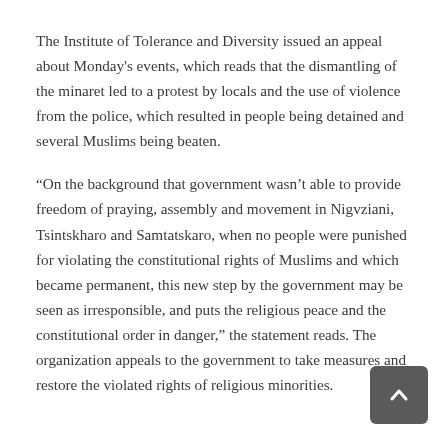The Institute of Tolerance and Diversity issued an appeal about Monday's events, which reads that the dismantling of the minaret led to a protest by locals and the use of violence from the police, which resulted in people being detained and several Muslims being beaten.
“On the background that government wasn’t able to provide freedom of praying, assembly and movement in Nigvziani, Tsintskharo and Samtatskaro, when no people were punished for violating the constitutional rights of Muslims and which became permanent, this new step by the government may be seen as irresponsible, and puts the religious peace and the constitutional order in danger,” the statement reads. The organization appeals to the government to take measures and restore the violated rights of religious minorities.